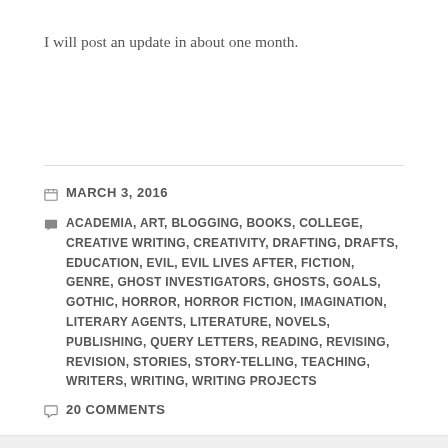I will post an update in about one month.
MARCH 3, 2016
ACADEMIA, ART, BLOGGING, BOOKS, COLLEGE, CREATIVE WRITING, CREATIVITY, DRAFTING, DRAFTS, EDUCATION, EVIL, EVIL LIVES AFTER, FICTION, GENRE, GHOST INVESTIGATORS, GHOSTS, GOALS, GOTHIC, HORROR, HORROR FICTION, IMAGINATION, LITERARY AGENTS, LITERATURE, NOVELS, PUBLISHING, QUERY LETTERS, READING, REVISING, REVISION, STORIES, STORY-TELLING, TEACHING, WRITERS, WRITING, WRITING PROJECTS
20 COMMENTS